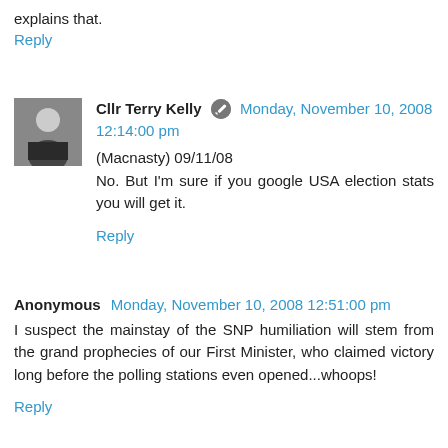explains that.
Reply
Cllr Terry Kelly  Monday, November 10, 2008 12:14:00 pm
(Macnasty) 09/11/08
No. But I'm sure if you google USA election stats you will get it.
Reply
Anonymous  Monday, November 10, 2008 12:51:00 pm
I suspect the mainstay of the SNP humiliation will stem from the grand prophecies of our First Minister, who claimed victory long before the polling stations even opened...whoops!
Reply